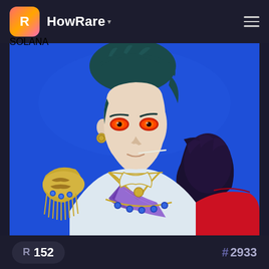HowRare
[Figure (illustration): Anime-style illustration of a male character with dark teal hair and glowing orange/red eyes, wearing a white military-style uniform with gold epaulettes, purple sash, dark fur stole, and red cape. A small object is held in his mouth. Blue background.]
R 152  # 2933